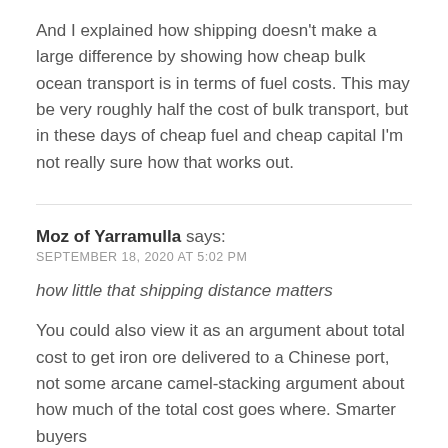And I explained how shipping doesn't make a large difference by showing how cheap bulk ocean transport is in terms of fuel costs. This may be very roughly half the cost of bulk transport, but in these days of cheap fuel and cheap capital I'm not really sure how that works out.
Moz of Yarramulla says:
SEPTEMBER 18, 2020 AT 5:02 PM
how little that shipping distance matters
You could also view it as an argument about total cost to get iron ore delivered to a Chinese port, not some arcane camel-stacking argument about how much of the total cost goes where. Smarter buyers